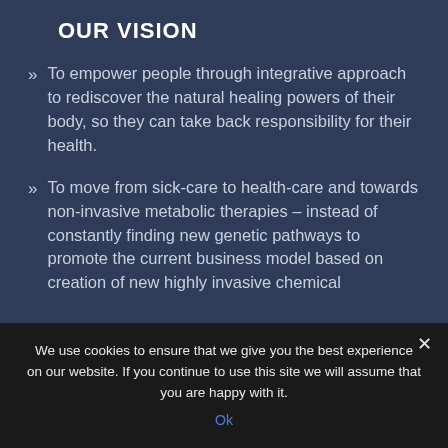OUR VISION
To empower people through integrative approach to rediscover the natural healing powers of their body, so they can take back responsibility for their health.
To move from sick-care to health-care and towards non-invasive metabolic therapies – instead of constantly finding new genetic pathways to promote the current business model based on creation of new highly invasive chemical
We use cookies to ensure that we give you the best experience on our website. If you continue to use this site we will assume that you are happy with it.
Ok